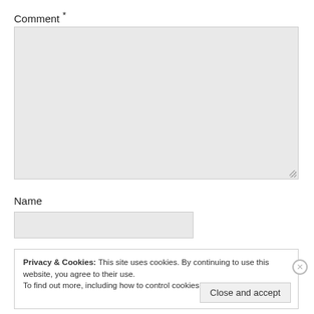Comment *
[Figure (screenshot): Empty textarea input field with light gray background and resize handle]
Name
[Figure (screenshot): Empty text input field with light gray background]
Privacy & Cookies: This site uses cookies. By continuing to use this website, you agree to their use.
To find out more, including how to control cookies, see here: Cookie Policy
Close and accept